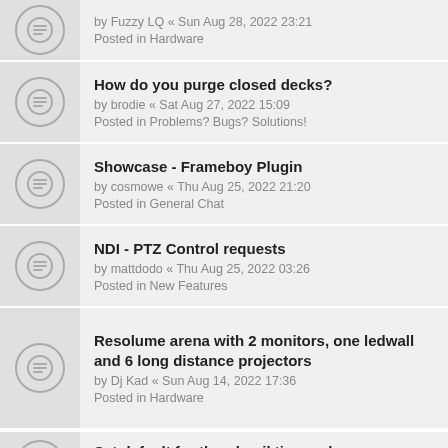by Fuzzy LQ « Sun Aug 28, 2022 23:21
Posted in Hardware
How do you purge closed decks?
by brodie « Sat Aug 27, 2022 15:09
Posted in Problems? Bugs? Solutions!
Showcase - Frameboy Plugin
by cosmowe « Thu Aug 25, 2022 21:20
Posted in General Chat
NDI - PTZ Control requests
by mattdodo « Thu Aug 25, 2022 03:26
Posted in New Features
Resolume arena with 2 monitors, one ledwall and 6 long distance projectors
by Dj Kad « Sun Aug 14, 2022 17:36
Posted in Hardware
Set default for thumbnail timecode